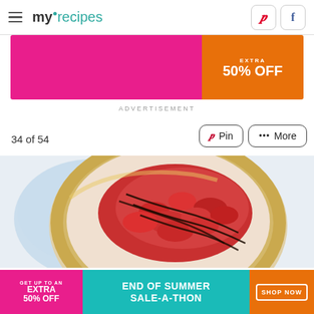myrecipes
[Figure (screenshot): Top advertisement banner with pink and orange sections showing 'EXTRA 50% OFF']
ADVERTISEMENT
34 of 54
[Figure (photo): Strawberry pie with chocolate drizzle and nut crust, viewed from above on decorative napkin]
[Figure (screenshot): Bottom advertisement banner: GET UP TO AN EXTRA 50% OFF - END OF SUMMER SALE-A-THON - SHOP NOW]